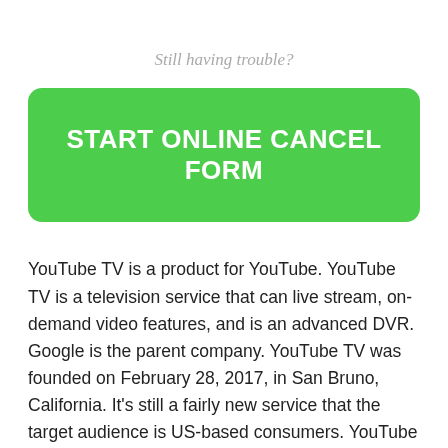Still having trouble?
[Figure (other): Green rounded button with text 'START ONLINE CANCEL FORM']
YouTube TV is a product for YouTube. YouTube TV is a television service that can live stream, on-demand video features, and is an advanced DVR. Google is the parent company. YouTube TV was founded on February 28, 2017, in San Bruno, California. It's still a fairly new service that the target audience is US-based consumers. YouTube TV has at least 1 million subscribers and made around 2 million dollars.
When YouTube TV officially launched to the public in